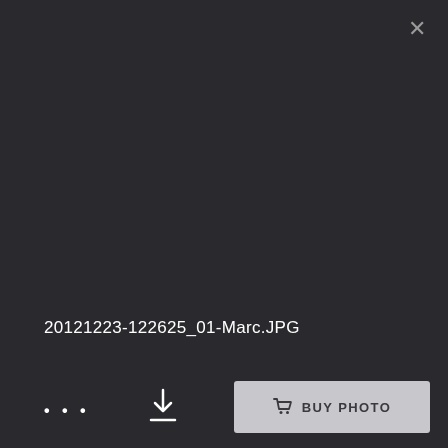×
20121223-122625_01-Marc.JPG
[Figure (screenshot): Dark UI overlay showing a photo viewer interface with a close button (×) in the top-right corner, filename text in the lower-left area, and a bottom toolbar with ellipsis (…), download icon, and a BUY PHOTO button on a dark background.]
• • •
BUY PHOTO